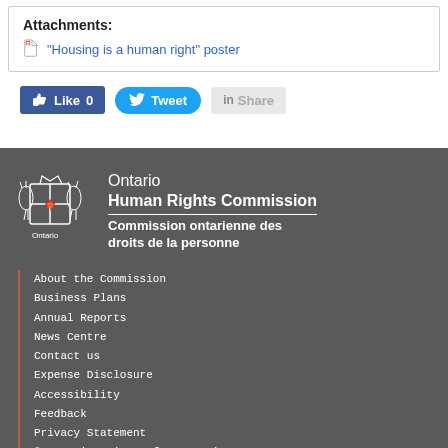Attachments:
"Housing is a human right" poster
[Figure (screenshot): Social sharing buttons: Like 0 (Facebook), Tweet (Twitter), Share (LinkedIn)]
[Figure (logo): Ontario Human Rights Commission / Commission ontarienne des droits de la personne logo with Ontario crest]
About the Commission
Business Plans
Annual Reports
News Centre
Contact us
Expense Disclosure
Accessibility
Feedback
Privacy Statement
© Queen's Printer for Ontario
Open Data